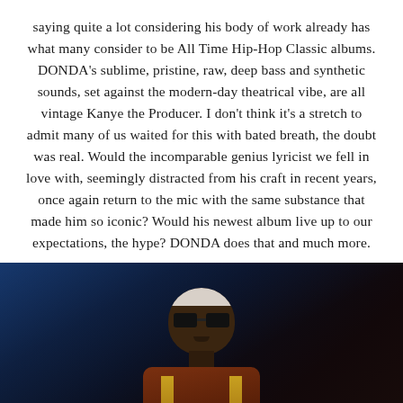saying quite a lot considering his body of work already has what many consider to be All Time Hip-Hop Classic albums. DONDA's sublime, pristine, raw, deep bass and synthetic sounds, set against the modern-day theatrical vibe, are all vintage Kanye the Producer. I don't think it's a stretch to admit many of us waited for this with bated breath, the doubt was real. Would the incomparable genius lyricist we fell in love with, seemingly distracted from his craft in recent years, once again return to the mic with the same substance that made him so iconic? Would his newest album live up to our expectations, the hype? DONDA does that and much more.
[Figure (photo): A performer on stage wearing sunglasses and a white headband, dressed in a red/gold jacket, photographed against dramatic blue stage lighting from below.]